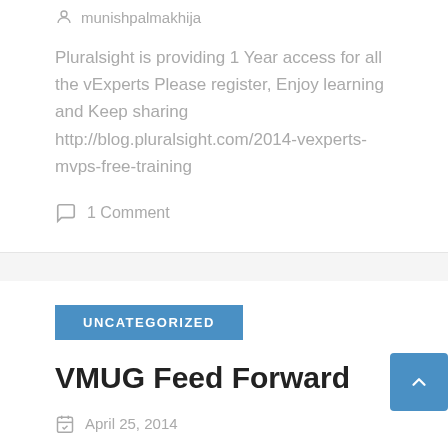munishpalmakhija
Pluralsight is providing 1 Year access for all the vExperts Please register, Enjoy learning and Keep sharing http://blog.pluralsight.com/2014-vexperts-mvps-free-training
1 Comment
UNCATEGORIZED
VMUG Feed Forward
April 25, 2014